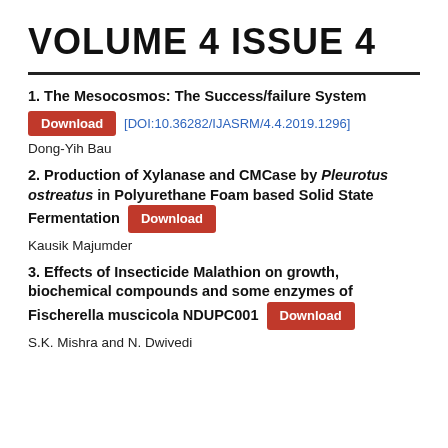VOLUME 4 ISSUE 4
1. The Mesocosmos: The Success/failure System
Download [DOI:10.36282/IJASRM/4.4.2019.1296]
Dong-Yih Bau
2. Production of Xylanase and CMCase by Pleurotus ostreatus in Polyurethane Foam based Solid State Fermentation Download
Kausik Majumder
3. Effects of Insecticide Malathion on growth, biochemical compounds and some enzymes of Fischerella muscicola NDUPC001 Download
S.K. Mishra and N. Dwivedi